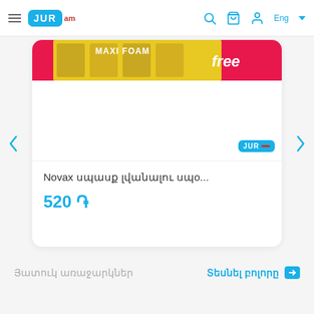JUR am — navigation header with hamburger menu, logo, search, cart, account, Eng language selector
[Figure (screenshot): Product image: Novax Maxi Foam sponge pack with 'free' promotion label visible at top of card]
Novax սպասք լվանալու սպո...
520 ֏
Յատուկ առաջարկներ
Տեսնել բոլորը →